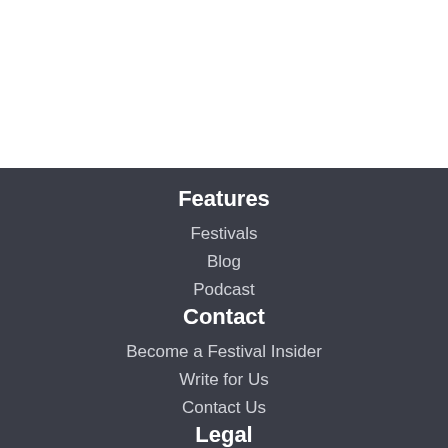Features
Festivals
Blog
Podcast
Contact
Become a Festival Insider
Write for Us
Contact Us
Legal